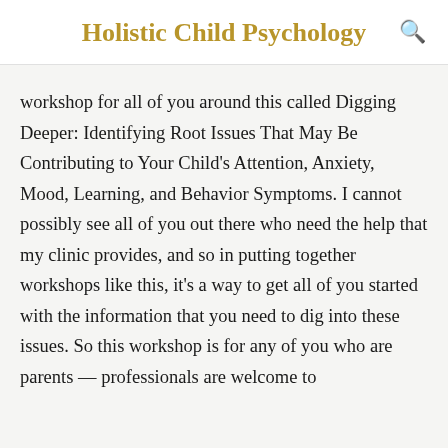Holistic Child Psychology
workshop for all of you around this called Digging Deeper: Identifying Root Issues That May Be Contributing to Your Child's Attention, Anxiety, Mood, Learning, and Behavior Symptoms. I cannot possibly see all of you out there who need the help that my clinic provides, and so in putting together workshops like this, it's a way to get all of you started with the information that you need to dig into these issues. So this workshop is for any of you who are parents — professionals are welcome to